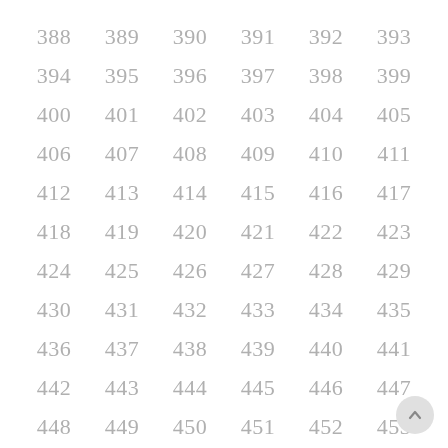388 389 390 391 392 393 394 395 396 397 398 399 400 401 402 403 404 405 406 407 408 409 410 411 412 413 414 415 416 417 418 419 420 421 422 423 424 425 426 427 428 429 430 431 432 433 434 435 436 437 438 439 440 441 442 443 444 445 446 447 448 449 450 451 452 453